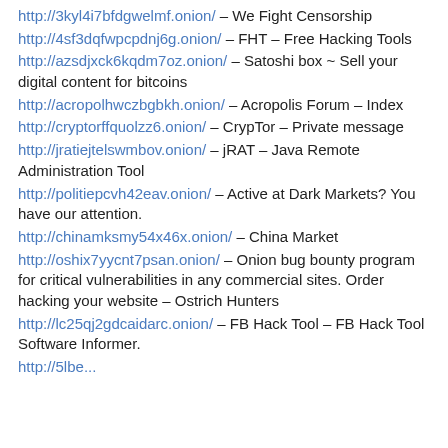http://3kyl4i7bfdgwelmf.onion/ – We Fight Censorship
http://4sf3dqfwpcpdnj6g.onion/ – FHT – Free Hacking Tools
http://azsdjxck6kqdm7oz.onion/ – Satoshi box ~ Sell your digital content for bitcoins
http://acropolhwczbgbkh.onion/ – Acropolis Forum – Index
http://cryptorffquolzz6.onion/ – CrypTor – Private message
http://jratiejtelswmbov.onion/ – jRAT – Java Remote Administration Tool
http://politiepcvh42eav.onion/ – Active at Dark Markets? You have our attention.
http://chinamksmy54x46x.onion/ – China Market
http://oshix7yycnt7psan.onion/ – Onion bug bounty program for critical vulnerabilities in any commercial sites. Order hacking your website – Ostrich Hunters
http://lc25qj2gdcaidarc.onion/ – FB Hack Tool – FB Hack Tool Software Informer.
http://5lbe...